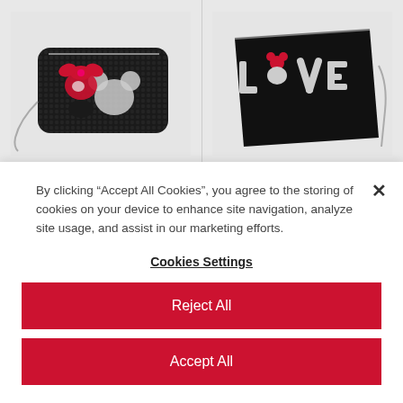[Figure (photo): Two black sequined/rhinestone purses/clutches with Disney Mickey Mouse designs. Left bag has Minnie Mouse rhinestone design with bow and Mickey silhouette. Right bag has 'LOVE' text in rhinestones with Mickey Mouse head as the O. Both bags have silver chain straps.]
By clicking “Accept All Cookies”, you agree to the storing of cookies on your device to enhance site navigation, analyze site usage, and assist in our marketing efforts.
Cookies Settings
Reject All
Accept All